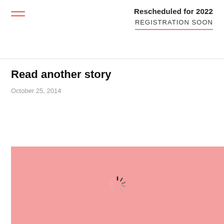Rescheduled for 2022
REGISTRATION SOON
Read another story
October 25, 2014
[Figure (photo): Large pink/salmon colored image placeholder with a loading spinner icon in the center]